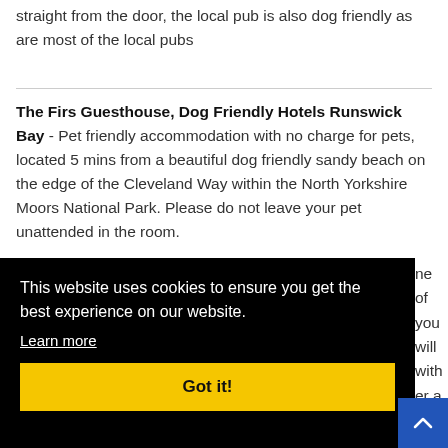straight from the door, the local pub is also dog friendly as are most of the local pubs
The Firs Guesthouse, Dog Friendly Hotels Runswick Bay - Pet friendly accommodation with no charge for pets, located 5 mins from a beautiful dog friendly sandy beach on the edge of the Cleveland Way within the North Yorkshire Moors National Park. Please do not leave your pet unattended in the room.
This website uses cookies to ensure you get the best experience on our website.
Learn more
Got it!
ne of you will ith er a